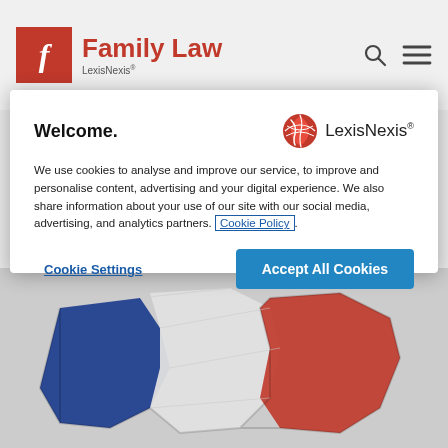[Figure (logo): Family Law LexisNexis logo with red FL icon and red text brand name in site header]
Welcome.
[Figure (logo): LexisNexis logo with red globe icon and LexisNexis wordmark]
We use cookies to analyse and improve our service, to improve and personalise content, advertising and your digital experience. We also share information about your use of our site with our social media, advertising, and analytics partners. Cookie Policy.
Cookie Settings
Accept All Cookies
[Figure (photo): 3D map of France with French flag colors (blue, white, red) on a light grey background]